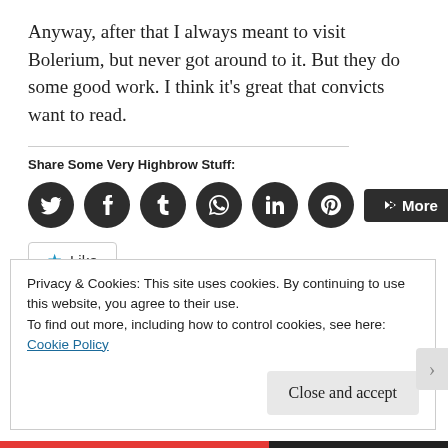Anyway, after that I always meant to visit Bolerium, but never got around to it. But they do some good work. I think it’s great that convicts want to read.
Share Some Very Highbrow Stuff:
[Figure (infographic): Row of dark circular social share buttons for Twitter, Facebook, Tumblr, WhatsApp, LinkedIn, Pinterest, plus a dark rounded rectangle More button with share icon.]
[Figure (infographic): Like button with blue star icon and text 'Like', followed by text 'Be the first to like this.']
Be the first to like this.
Privacy & Cookies: This site uses cookies. By continuing to use this website, you agree to their use.
To find out more, including how to control cookies, see here: Cookie Policy
Close and accept